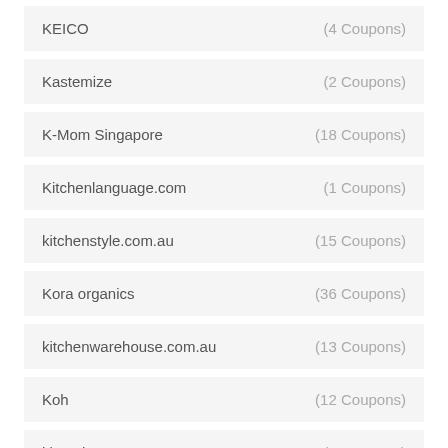KEICO (4 Coupons)
Kastemize (2 Coupons)
K-Mom Singapore (18 Coupons)
Kitchenlanguage.com (1 Coupons)
kitchenstyle.com.au (15 Coupons)
Kora organics (36 Coupons)
kitchenwarehouse.com.au (13 Coupons)
Koh (12 Coupons)
klean kanteen (1 Coupons)
Kkday (98 Coupons)